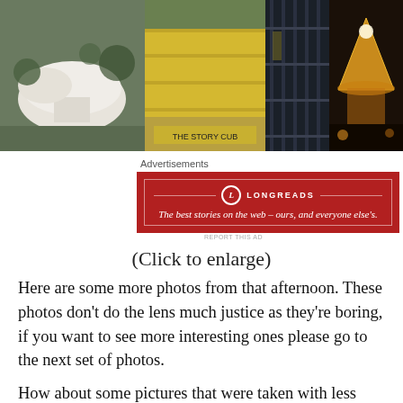[Figure (photo): Strip of four architectural/travel photographs: a white organic-shaped building among trees, a yellow shipping-container style building, a dark glass interior, and an illuminated tent-like structure at night.]
Advertisements
[Figure (infographic): Longreads advertisement banner in dark red. Logo circle with L, LONGREADS text, tagline: The best stories on the web – ours, and everyone else's.]
REPORT THIS AD
(Click to enlarge)
Here are some more photos from that afternoon. These photos don't do the lens much justice as they're boring, if you want to see more interesting ones please go to the next set of photos.
How about some pictures that were taken with less light? For situations like these I use the Fujifilm Natura 1600, a discontinued film that has become as expensive as gold to